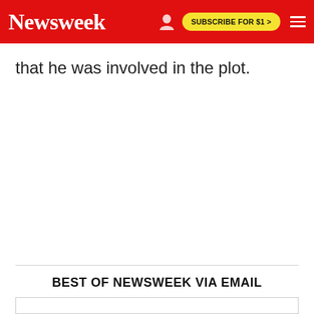Newsweek | SUBSCRIBE FOR $1 >
that he was involved in the plot.
BEST OF NEWSWEEK VIA EMAIL